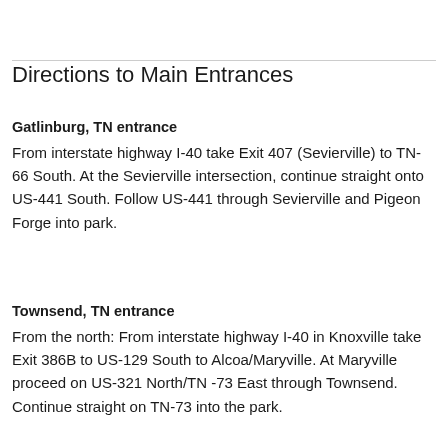Directions to Main Entrances
Gatlinburg, TN entrance
From interstate highway I-40 take Exit 407 (Sevierville) to TN-66 South. At the Sevierville intersection, continue straight onto US-441 South. Follow US-441 through Sevierville and Pigeon Forge into park.
Townsend, TN entrance
From the north: From interstate highway I-40 in Knoxville take Exit 386B to US-129 South to Alcoa/Maryville. At Maryville proceed on US-321 North/TN -73 East through Townsend. Continue straight on TN-73 into the park.